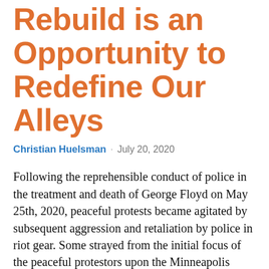Rebuild is an Opportunity to Redefine Our Alleys
Christian Huelsman · July 20, 2020
Following the reprehensible conduct of police in the treatment and death of George Floyd on May 25th, 2020, peaceful protests became agitated by subsequent aggression and retaliation by police in riot gear. Some strayed from the initial focus of the peaceful protestors upon the Minneapolis Police Department Third Precinct building, setting fire to neighborhood buildings owned or operated by vulnerable businesses. While mourning loss of buildings should never come before questioning loss